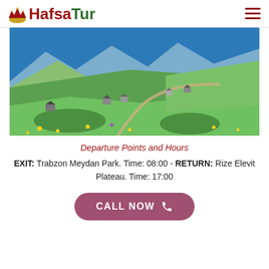Hafsa Tur
[Figure (photo): Mountain plateau landscape with green hills, scattered wooden houses, winding dirt road, yellow wildflowers in foreground, blue sky with mountains in background — Rize Elevit Plateau, Turkey]
Departure Points and Hours
EXIT: Trabzon Meydan Park. Time: 08:00 - RETURN: Rize Elevit Plateau. Time: 17:00
CALL NOW